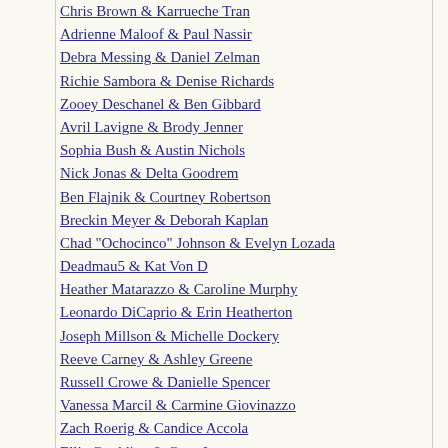Chris Brown & Karrueche Tran
Adrienne Maloof & Paul Nassir
Debra Messing & Daniel Zelman
Richie Sambora & Denise Richards
Zooey Deschanel & Ben Gibbard
Avril Lavigne & Brody Jenner
Sophia Bush & Austin Nichols
Nick Jonas & Delta Goodrem
Ben Flajnik & Courtney Robertson
Breckin Meyer & Deborah Kaplan
Chad "Ochocinco" Johnson & Evelyn Lozada
Deadmau5 & Kat Von D
Heather Matarazzo & Caroline Murphy
Leonardo DiCaprio & Erin Heatherton
Joseph Millson & Michelle Dockery
Reeve Carney & Ashley Greene
Russell Crowe & Danielle Spencer
Vanessa Marcil & Carmine Giovinazzo
Zach Roerig & Candice Accola
Ellie Goulding & Greg James
Caroline Flack & Harry Styles
Catherine Tate & Jason Orange
Mollie King & David Gandy
Eduardo Cruz & Eva Longoria
Dannii Minogue & Kris Smith
Annie Campbell & Patrick Walsh